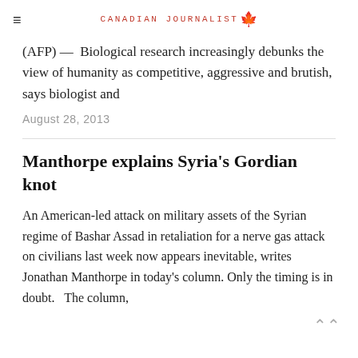≡  CANADIAN JOURNALIST 🍁
(AFP) —  Biological research increasingly debunks the view of humanity as competitive, aggressive and brutish, says biologist and
August 28, 2013
Manthorpe explains Syria's Gordian knot
An American-led attack on military assets of the Syrian regime of Bashar Assad in retaliation for a nerve gas attack on civilians last week now appears inevitable, writes Jonathan Manthorpe in today's column. Only the timing is in doubt.   The column,